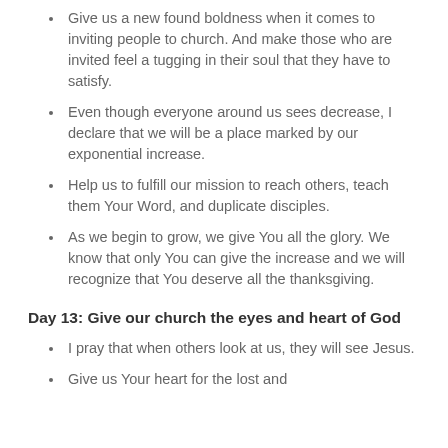Give us a new found boldness when it comes to inviting people to church. And make those who are invited feel a tugging in their soul that they have to satisfy.
Even though everyone around us sees decrease, I declare that we will be a place marked by our exponential increase.
Help us to fulfill our mission to reach others, teach them Your Word, and duplicate disciples.
As we begin to grow, we give You all the glory. We know that only You can give the increase and we will recognize that You deserve all the thanksgiving.
Day 13: Give our church the eyes and heart of God
I pray that when others look at us, they will see Jesus.
Give us Your heart for the lost and